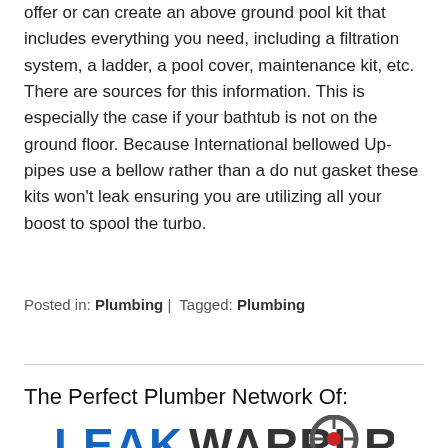offer or can create an above ground pool kit that includes everything you need, including a filtration system, a ladder, a pool cover, maintenance kit, etc. There are sources for this information. This is especially the case if your bathtub is not on the ground floor. Because International bellowed Up-pipes use a bellow rather than a do nut gasket these kits won't leak ensuring you are utilizing all your boost to spool the turbo.
Posted in: Plumbing | Tagged: Plumbing
The Perfect Plumber Network Of:
[Figure (logo): LeakWarrior logo with blue LEAK text and dark grey WARRIOR text with red crosshair/target symbol replacing the O]